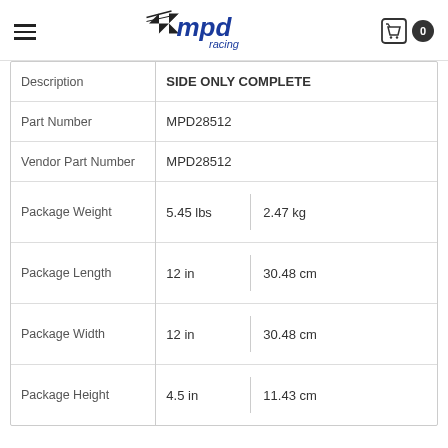MPD Racing — navigation header with hamburger menu, logo, cart icon, and badge 0
| Field | Value |
| --- | --- |
| Description | SIDE ONLY COMPLETE |
| Part Number | MPD28512 |
| Vendor Part Number | MPD28512 |
| Package Weight | 5.45 lbs | 2.47 kg |
| Package Length | 12 in | 30.48 cm |
| Package Width | 12 in | 30.48 cm |
| Package Height | 4.5 in | 11.43 cm |